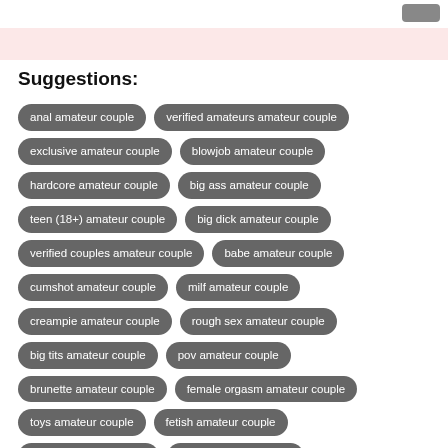Suggestions:
anal amateur couple
verified amateurs amateur couple
exclusive amateur couple
blowjob amateur couple
hardcore amateur couple
big ass amateur couple
teen (18+) amateur couple
big dick amateur couple
verified couples amateur couple
babe amateur couple
cumshot amateur couple
milf amateur couple
creampie amateur couple
rough sex amateur couple
big tits amateur couple
pov amateur couple
brunette amateur couple
female orgasm amateur couple
toys amateur couple
fetish amateur couple
blonde amateur couple
reality amateur couple
hd amateur couple
teen amateur couple
webcam amateur couple
small tits amateur couple
60fps amateur couple
latina amateur couple
pussy licking amateur couple
masturbation amateur couple
handjob amateur couple
asian amateur couple